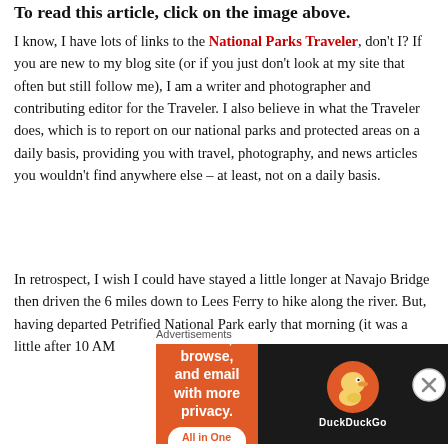To read this article, click on the image above.
I know, I have lots of links to the National Parks Traveler, don't I? If you are new to my blog site (or if you just don't look at my site that often but still follow me), I am a writer and photographer and contributing editor for the Traveler. I also believe in what the Traveler does, which is to report on our national parks and protected areas on a daily basis, providing you with travel, photography, and news articles you wouldn't find anywhere else – at least, not on a daily basis.
In retrospect, I wish I could have stayed a little longer at Navajo Bridge then driven the 6 miles down to Lees Ferry to hike along the river. But, having departed Petrified National Park early that morning (it was a little after 10 AM
Advertisements
[Figure (other): DuckDuckGo advertisement banner: Search, browse, and email with more privacy. All in One Free App. DuckDuckGo.]